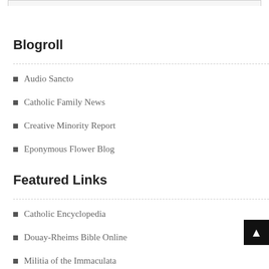Blogroll
Audio Sancto
Catholic Family News
Creative Minority Report
Eponymous Flower Blog
Featured Links
Catholic Encyclopedia
Douay-Rheims Bible Online
Militia of the Immaculata
PapalEncyclicals.Net
The Holy See